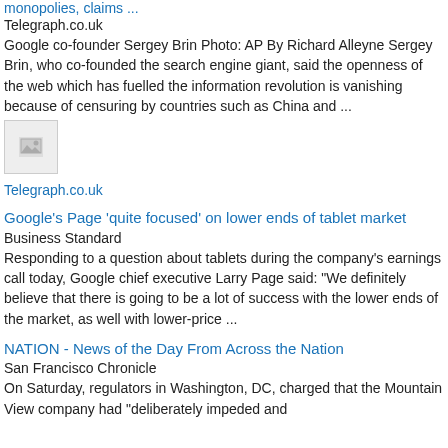monopolies, claims ...
Telegraph.co.uk
Google co-founder Sergey Brin Photo: AP By Richard Alleyne Sergey Brin, who co-founded the search engine giant, said the openness of the web which has fuelled the information revolution is vanishing because of censuring by countries such as China and ...
[Figure (photo): Broken image thumbnail]
Telegraph.co.uk
Google's Page 'quite focused' on lower ends of tablet market
Business Standard
Responding to a question about tablets during the company's earnings call today, Google chief executive Larry Page said: "We definitely believe that there is going to be a lot of success with the lower ends of the market, as well with lower-price ...
NATION - News of the Day From Across the Nation
San Francisco Chronicle
On Saturday, regulators in Washington, DC, charged that the Mountain View company had "deliberately impeded and